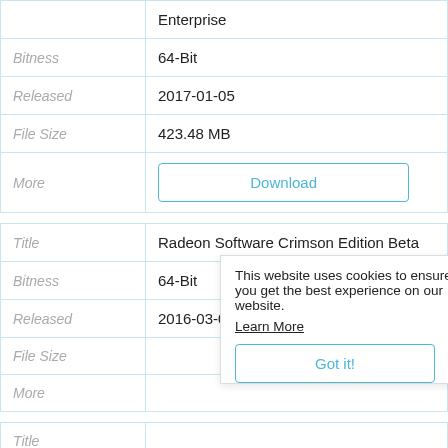|  |  |
| --- | --- |
|  | Enterprise |
| Bitness | 64-Bit |
| Released | 2017-01-05 |
| File Size | 423.48 MB |
| More | Download |
|  |  |
| --- | --- |
| Title | Radeon Software Crimson Edition Beta |
| Bitness | 64-Bit |
| Released | 2016-03-02 |
| File Size |  |
| More |  |
This website uses cookies to ensure you get the best experience on our website.
Learn More
Got it!
|  |  |
| --- | --- |
| Title |  |
| Bitness |  |
| Released | 2015-07-30 |